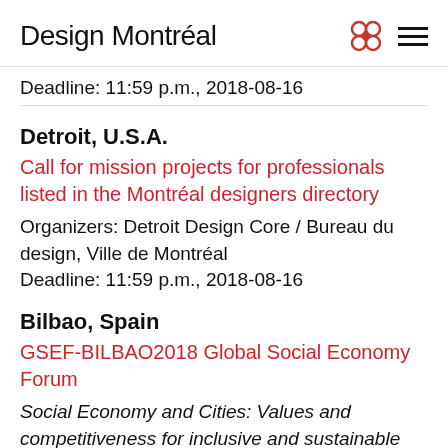Design Montréal
Deadline: 11:59 p.m., 2018-08-16
Detroit, U.S.A.
Call for mission projects for professionals listed in the Montréal designers directory
Organizers: Detroit Design Core / Bureau du design, Ville de Montréal
Deadline: 11:59 p.m., 2018-08-16
Bilbao, Spain
GSEF-BILBAO2018 Global Social Economy Forum
Social Economy and Cities: Values and competitiveness for inclusive and sustainable development